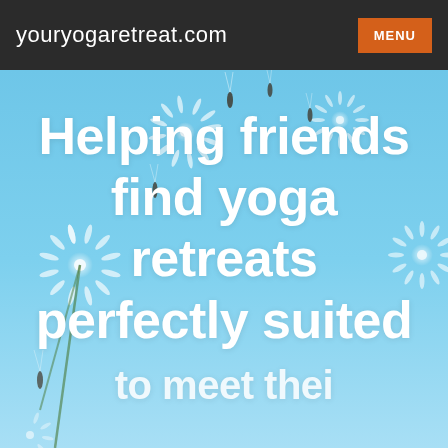youryogaretreat.com
[Figure (photo): Sky-blue background with floating dandelion seeds scattered across the image, creating a light and airy wellness atmosphere.]
Helping friends find yoga retreats perfectly suited to meet their